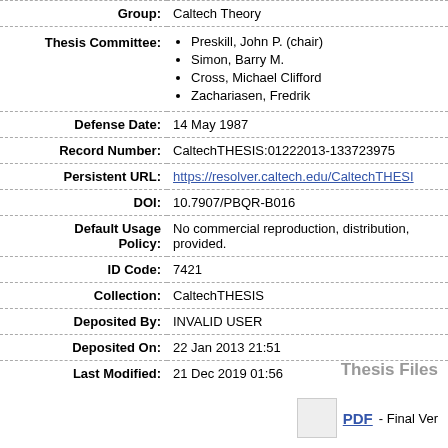| Field | Value |
| --- | --- |
| Group: | Caltech Theory |
| Thesis Committee: | Preskill, John P. (chair)
Simon, Barry M.
Cross, Michael Clifford
Zachariasen, Fredrik |
| Defense Date: | 14 May 1987 |
| Record Number: | CaltechTHESIS:01222013-133723975 |
| Persistent URL: | https://resolver.caltech.edu/CaltechTHESIS... |
| DOI: | 10.7907/PBQR-B016 |
| Default Usage Policy: | No commercial reproduction, distribution, provided. |
| ID Code: | 7421 |
| Collection: | CaltechTHESIS |
| Deposited By: | INVALID USER |
| Deposited On: | 22 Jan 2013 21:51 |
| Last Modified: | 21 Dec 2019 01:56 |
Thesis Files
PDF - Final Ve...